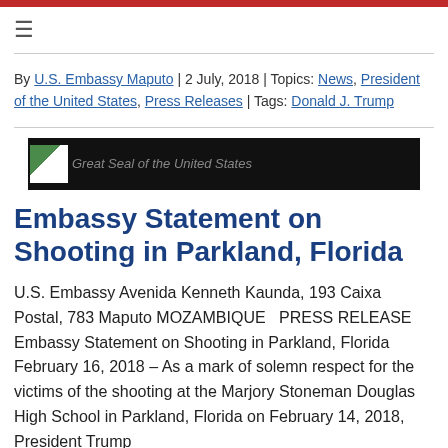≡
By U.S. Embassy Maputo | 2 July, 2018 | Topics: News, President of the United States, Press Releases | Tags: Donald J. Trump
[Figure (illustration): Black banner with Great Seal of the United States image placeholder on the left and italic caption text 'Great Seal of the United States']
Embassy Statement on Shooting in Parkland, Florida
U.S. Embassy Avenida Kenneth Kaunda, 193 Caixa Postal, 783 Maputo MOZAMBIQUE   PRESS RELEASE Embassy Statement on Shooting in Parkland, Florida February 16, 2018 – As a mark of solemn respect for the victims of the shooting at the Marjory Stoneman Douglas High School in Parkland, Florida on February 14, 2018, President Trump